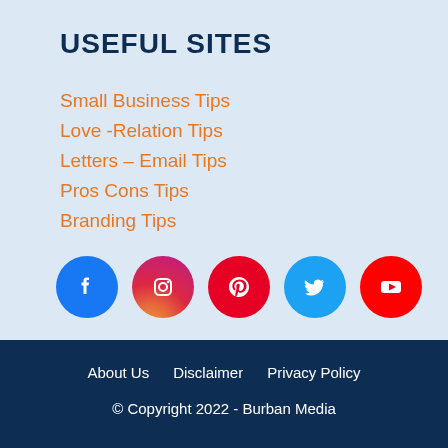USEFUL SITES
Small Business Tips
Love -Relation Tips
Letters – Email Tips
Pros Cons Tips
Branding Tips
[Figure (illustration): Social media icons: Facebook (blue circle), Instagram (pink/red gradient circle), Pinterest (red circle), Twitter (light blue circle), YouTube (red circle)]
About Us   Disclaimer   Privacy Policy
© Copyright 2022 - Burban Media